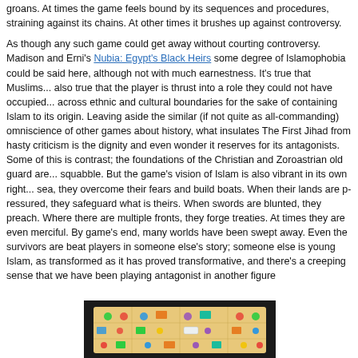groans. At times the game feels bound by its sequences and procedures, straining against its chains. At other times it brushes up against controversy.

As though any such game could get away without courting controversy. Madison and Erni's Nubia: Egypt's Black Heirs some degree of Islamo... be said here, although not with much earnestness. It's true that Muslims... also true that the player is thrust into a role they could not have occupied... across ethnic and cultural boundaries for the sake of containing Islam to its origin. Leaving aside the similar (if not quite as all-commanding) omnis... other games about history, what insulates The First Jihad from hasty c... dignity and even wonder it reserves for its antagonists. Some of this is... contrast; the foundations of the Christian and Zoroastrian old guard are... squabble. But the game's vision of Islam is also vibrant in its own right... sea, they overcome their fears and build boats. When their lands are p... safeguard what is theirs. When swords are blunted, they preach. Wher... fronts, they forge treaties. At times they are even merciful. By game's e... have been swept away. Even the survivors are beat players in someon... someone else is young Islam, as transformed as it has proved transfor... creeping sense that we have been playing antagonist in another figure
[Figure (photo): A board game in play, showing a game board with colored pieces, tokens, and cards on a dark background surface.]